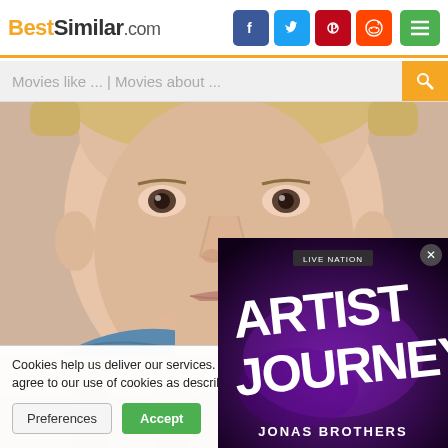BestSimilar.com — navigation header with social icons (Facebook, Twitter, Pinterest, Reddit) and menu button
Movies like ... | Movies about ...
[Figure (photo): Close-up portrait of a young blond male looking directly at camera, wearing a blue denim shirt]
[Figure (photo): Two smaller movie thumbnail images partially visible at the bottom]
[Figure (advertisement): Live Nation advertisement for Jonas Brothers Artist Journey tour on dark purple background]
Cookies help us deliver our services. By us... you agree to our use of cookies as describe...
Preferences   Accept